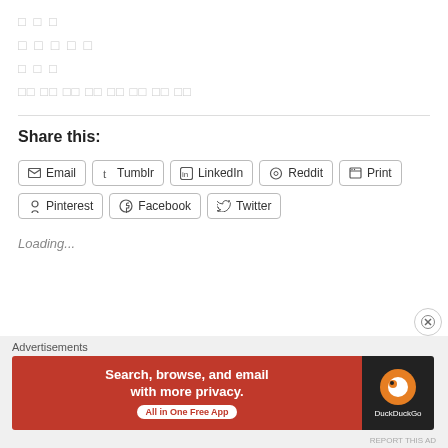□ □ □
□ □ □ □ □
□ □ □
□□ □□ □□ □□ □□ □□ □□ □□
Share this:
Email | Tumblr | LinkedIn | Reddit | Print | Pinterest | Facebook | Twitter
Loading...
Advertisements
[Figure (screenshot): DuckDuckGo advertisement banner: 'Search, browse, and email with more privacy. All in One Free App' with DuckDuckGo logo on dark right panel]